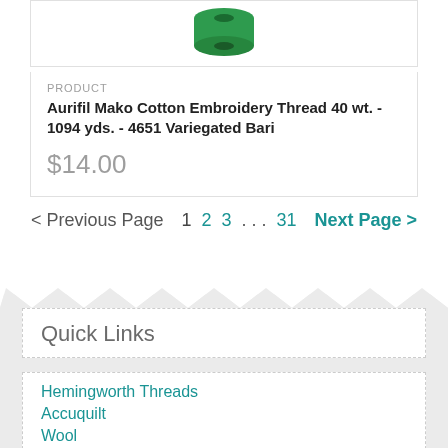[Figure (photo): Green spool/bobbin of Aurifil Mako Cotton Embroidery Thread viewed from above]
PRODUCT
Aurifil Mako Cotton Embroidery Thread 40 wt. - 1094 yds. - 4651 Variegated Bari
$14.00
< Previous Page    1  2  3 ... 31    Next Page >
Quick Links
Hemingworth Threads
Accuquilt
Wool